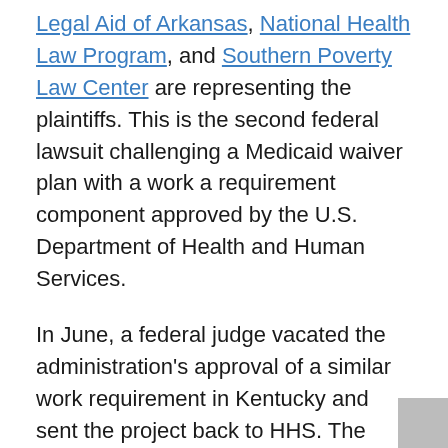Legal Aid of Arkansas, National Health Law Program, and Southern Poverty Law Center are representing the plaintiffs. This is the second federal lawsuit challenging a Medicaid waiver plan with a work a requirement component approved by the U.S. Department of Health and Human Services.
In June, a federal judge vacated the administration's approval of a similar work requirement in Kentucky and sent the project back to HHS. The groups challenging the Kentucky waiver approval are National Health Law Program, Kentucky Equal Justice Center, and the Southern Poverty Law Center. The law firm, Jenner & Block, is working with National